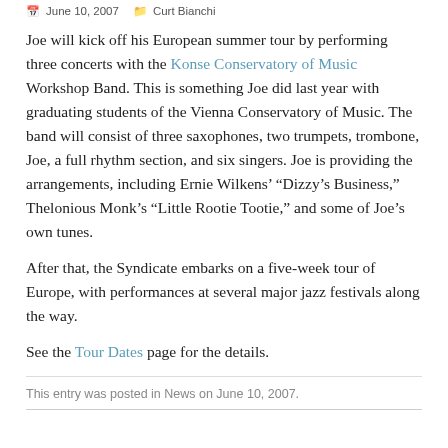June 10, 2007   Curt Bianchi
Joe will kick off his European summer tour by performing three concerts with the Konse Conservatory of Music Workshop Band. This is something Joe did last year with graduating students of the Vienna Conservatory of Music. The band will consist of three saxophones, two trumpets, trombone, Joe, a full rhythm section, and six singers. Joe is providing the arrangements, including Ernie Wilkens’ “Dizzy’s Business,” Thelonious Monk’s “Little Rootie Tootie,” and some of Joe’s own tunes.
After that, the Syndicate embarks on a five-week tour of Europe, with performances at several major jazz festivals along the way.
See the Tour Dates page for the details.
This entry was posted in News on June 10, 2007.